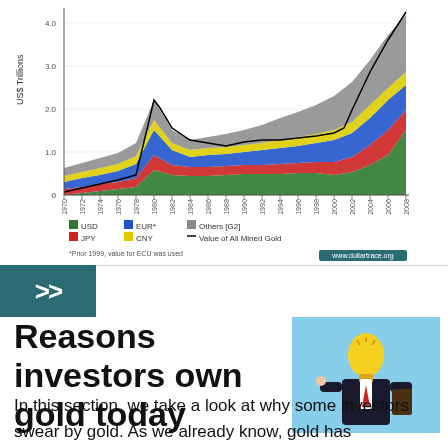[Figure (area-chart): Stacked area chart showing value of all mined gold in US$ Trillions from 1970 to ~2008, with colored areas for USD (green), JPY (red), EUR* (blue), CNY (yellow), Others [G2] (grey), and a black line for Value of All Mined Gold. Peak near 2008 at ~5 trillion.]
>>
Reasons investors own gold today
[Figure (illustration): Illustration of a businessman in a suit with a light bulb for a head, holding a book and giving a thumbs up, on a light blue background.]
In this section, we take a look at why some investors swear by gold. As we already know, gold has